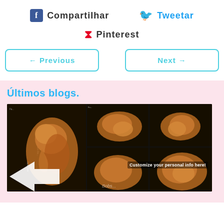Compartilhar   Tweetar
Pinterest
← Previous
Next →
Últimos blogs.
[Figure (photo): Collage of 3D ultrasound images showing a fetus from multiple angles with a white arrow overlay and text 'Customize your personal info here!']